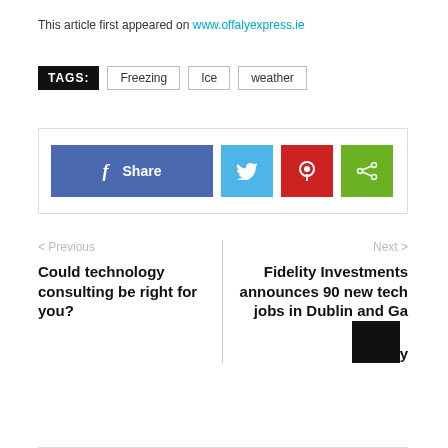This article first appeared on www.offalyexpress.ie
TAGS: Freezing  Ice  weather
[Figure (other): Social share buttons: Facebook Share, Twitter, Pinterest, and generic share icon]
< Previous
Could technology consulting be right for you?
Next >
Fidelity Investments announces 90 new tech jobs in Dublin and Galway